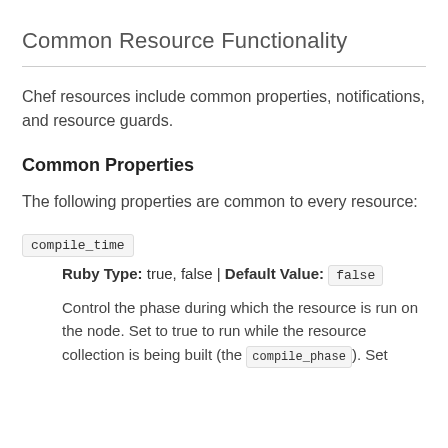Common Resource Functionality
Chef resources include common properties, notifications, and resource guards.
Common Properties
The following properties are common to every resource:
compile_time
Ruby Type: true, false | Default Value: false
Control the phase during which the resource is run on the node. Set to true to run while the resource collection is being built (the compile_phase). Set